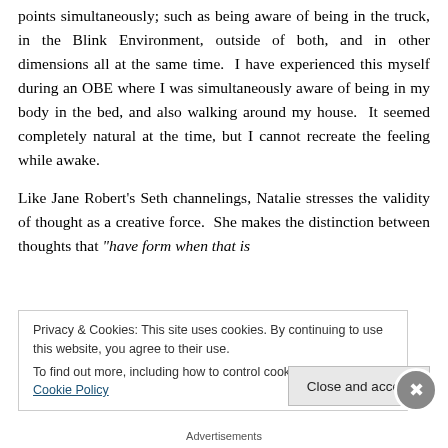Natalie was able to hold awareness from multiple focal points simultaneously; such as being aware of being in the truck, in the Blink Environment, outside of both, and in other dimensions all at the same time. I have experienced this myself during an OBE where I was simultaneously aware of being in my body in the bed, and also walking around my house. It seemed completely natural at the time, but I cannot recreate the feeling while awake.
Like Jane Robert's Seth channelings, Natalie stresses the validity of thought as a creative force. She makes the distinction between thoughts that “have form when that is
Privacy & Cookies: This site uses cookies. By continuing to use this website, you agree to their use.
To find out more, including how to control cookies, see here: Cookie Policy
Close and accept
Advertisements